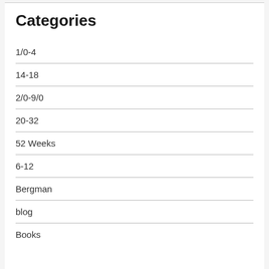Categories
1/0-4
14-18
2/0-9/0
20-32
52 Weeks
6-12
Bergman
blog
Books